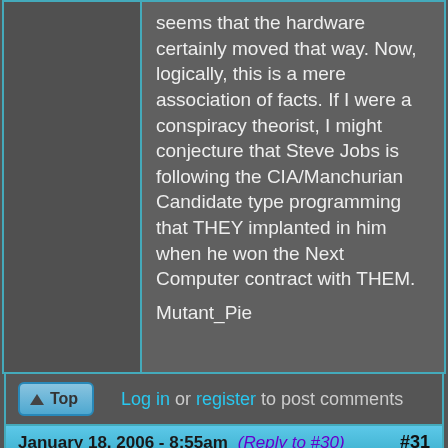seems that the hardware certainly moved that way. Now, logically, this is a mere association of facts. If I were a conspiracy theorist, I might conjecture that Steve Jobs is following the CIA/Manchurian Candidate type programming that THEY implanted in him when he won the Next Computer contract with THEM.

Mutant_Pie
Log in or register to post comments
January 18, 2006 - 8:55am (Reply to #30) #31
fynch
Offline
Last seen: 10
Actually if any tech company
Actually if any tech company is big brother, I'd say it's Google.